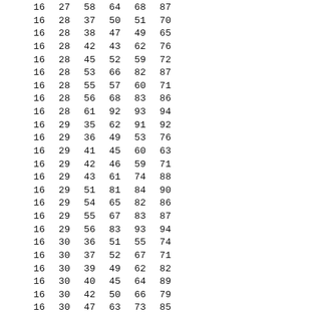| 16 | 27 | 58 | 64 | 68 | 87 |
| 16 | 28 | 37 | 50 | 51 | 70 |
| 16 | 28 | 38 | 47 | 49 | 65 |
| 16 | 28 | 42 | 43 | 62 | 76 |
| 16 | 28 | 45 | 52 | 59 | 72 |
| 16 | 28 | 53 | 66 | 82 | 87 |
| 16 | 28 | 55 | 57 | 60 | 71 |
| 16 | 28 | 56 | 68 | 83 | 86 |
| 16 | 28 | 61 | 92 | 93 | 94 |
| 16 | 29 | 35 | 62 | 91 | 92 |
| 16 | 29 | 36 | 49 | 53 | 76 |
| 16 | 29 | 41 | 45 | 60 | 63 |
| 16 | 29 | 42 | 46 | 59 | 71 |
| 16 | 29 | 43 | 61 | 74 | 88 |
| 16 | 29 | 51 | 81 | 84 | 90 |
| 16 | 29 | 54 | 65 | 82 | 86 |
| 16 | 29 | 55 | 67 | 83 | 87 |
| 16 | 29 | 56 | 83 | 93 | 94 |
| 16 | 30 | 36 | 51 | 55 | 74 |
| 16 | 30 | 37 | 52 | 67 | 71 |
| 16 | 30 | 39 | 49 | 62 | 82 |
| 16 | 30 | 40 | 45 | 64 | 89 |
| 16 | 30 | 42 | 50 | 66 | 79 |
| 16 | 30 | 47 | 63 | 73 | 85 |
| 16 | 30 | 52 | 59 | 91 | 92 |
| 16 | 30 | 54 | 57 | 69 | 75 |
| 16 | 30 | 56 | 65 | 81 | 87 |
| 16 | 31 | 33 | 49 | 54 | 58 |
| 16 | 31 | 37 | 42 | 68 | 72 |
| 16 | 31 | 38 | 45 | 51 | 67 |